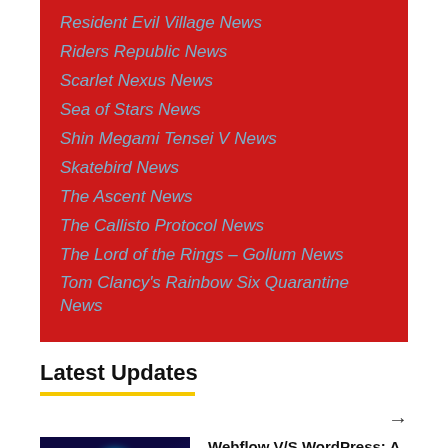Resident Evil Village News
Riders Republic News
Scarlet Nexus News
Sea of Stars News
Shin Megami Tensei V News
Skatebird News
The Ascent News
The Callisto Protocol News
The Lord of the Rings – Gollum News
Tom Clancy's Rainbow Six Quarantine News
Latest Updates
[Figure (photo): Thumbnail image with dark purple/blue background and 'webflow' text with a pink dot, cyan glow at top.]
Webflow V/S WordPress: A Complete Comparison